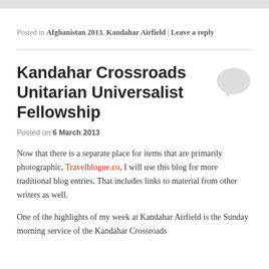Posted in Afghanistan 2013, Kandahar Airfield | Leave a reply
Kandahar Crossroads Unitarian Universalist Fellowship
Posted on 6 March 2013
Now that there is a separate place for items that are primarily photographic, Travelblogue.co, I will use this blog for more traditional blog entries. That includes links to material from other writers as well.
One of the highlights of my week at Kandahar Airfield is the Sunday morning service of the Kandahar Crossroads